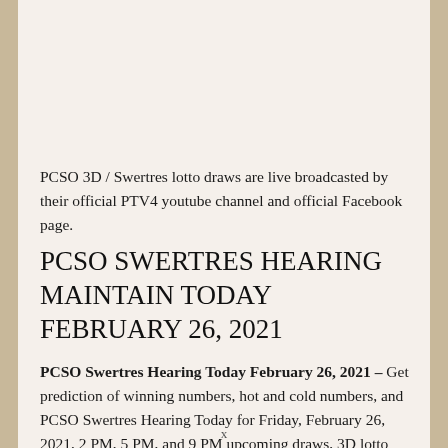PCSO 3D / Swertres lotto draws are live broadcasted by their official PTV4 youtube channel and official Facebook page.
PCSO SWERTRES HEARING MAINTAIN TODAY FEBRUARY 26, 2021
PCSO Swertres Hearing Today February 26, 2021 – Get prediction of winning numbers, hot and cold numbers, and PCSO Swertres Hearing Today for Friday, February 26, 2021, 2 PM, 5 PM, and 9 PM upcoming draws, 3D lotto
x